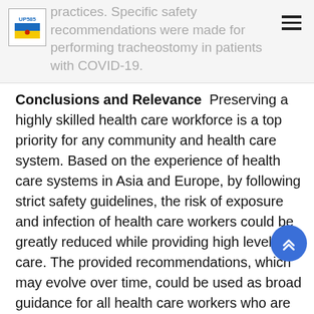practices. Specific safety recommendations were made for performing tracheostomy in patients with COVID-19.
Conclusions and Relevance  Preserving a highly skilled health care workforce is a top priority for any community and health care system. Based on the experience of health care systems in Asia and Europe, by following strict safety guidelines, the risk of exposure and infection of health care workers could be greatly reduced while providing high levels of care. The provided recommendations, which may evolve over time, could be used as broad guidance for all health care workers who are involved in the care of patients with COVID-19.
Introduction